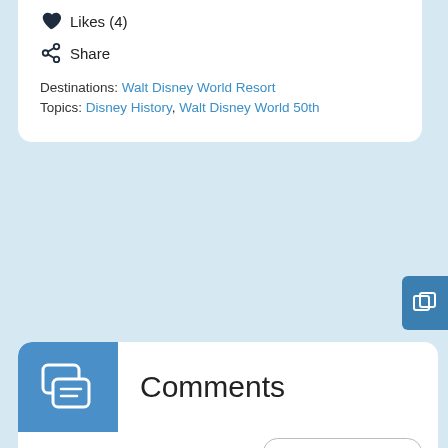♥ Likes (4)
⊕ Share
Destinations: Walt Disney World Resort
Topics: Disney History, Walt Disney World 50th
Comments
Newest to Oldest
On a vacation in Miami my parents and I stopped at the visitor center on our way back to Philadelphia. I was young, but remember the magic that would be Disney World. One thing I do wonder about is the center had “Guest Books” for each State that visitors could sign. What has happened to those books?
Bonnie on September 23, 2021 at 10:37 pm